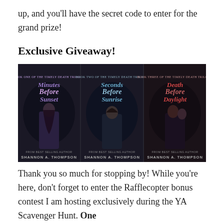up, and you'll have the secret code to enter for the grand prize!
Exclusive Giveaway!
[Figure (photo): Three book covers side by side: 'Minutes Before Sunset', 'Seconds Before Sunrise', and 'Death Before Daylight', all by Shannon A. Thompson. Dark fantasy YA novel covers featuring figures against dark, swirling backgrounds with ornate circular frames.]
Thank you so much for stopping by! While you're here, don't forget to enter the Rafflecopter bonus contest I am hosting exclusively during the YA Scavenger Hunt. One